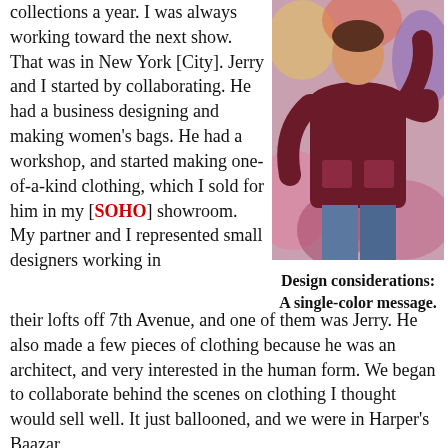collections a year. I was always working toward the next show. That was in New York [City]. Jerry and I started by collaborating. He had a business designing and making women's bags. He had a workshop, and started making one-of-a-kind clothing, which I sold for him in my [SOHO] showroom. My partner and I represented small designers working in
[Figure (photo): A person wearing a dark burgundy/maroon oversized knit sweater with patch pockets, standing in front of a colorful textile background.]
Design considerations: A single-color message.
their lofts off 7th Avenue, and one of them was Jerry. He also made a few pieces of clothing because he was an architect, and very interested in the human form. We began to collaborate behind the scenes on clothing I thought would sell well. It just ballooned, and we were in Harper's Baazar,